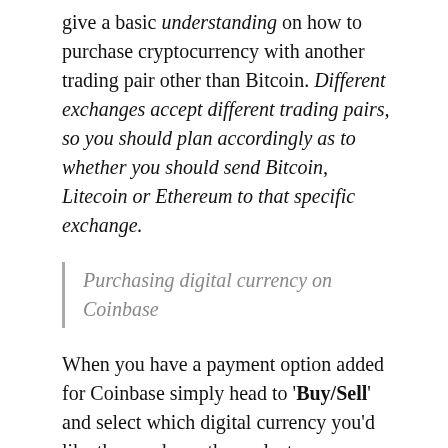give a basic understanding on how to purchase cryptocurrency with another trading pair other than Bitcoin. Different exchanges accept different trading pairs, so you should plan accordingly as to whether you should send Bitcoin, Litecoin or Ethereum to that specific exchange.
Purchasing digital currency on Coinbase
When you have a payment option added for Coinbase simply head to 'Buy/Sell' and select which digital currency you'd like the purchase, then select your payment method of using either a debit card/credit card then enter the amount (in your own currency) that you'd like to purchase or you can enter the amount of digital currency you'd like and the system will automatically convert it vice versa. Then press the 'Buy [TOKEN] instantly' button and